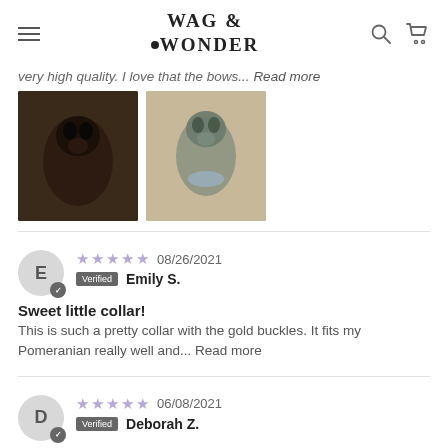WAG & WONDER
very high quality. I love that the bows... Read more
[Figure (photo): Two dog photos: a dark-coated dog on the left and a grey/green dog on the right, both wearing collars or bandanas]
★★★★★ 08/26/2021 Verified Emily S.
Sweet little collar!
This is such a pretty collar with the gold buckles. It fits my Pomeranian really well and... Read more
★★★★★ 06/08/2021 Verified Deborah Z.